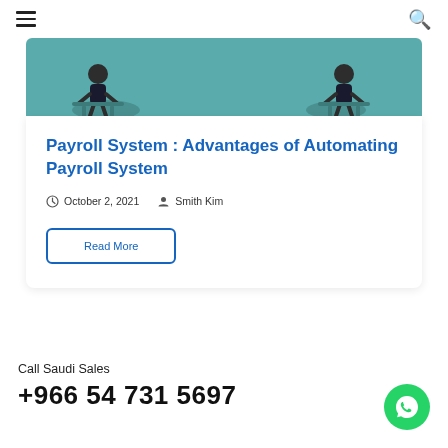≡ (menu) | (search)
[Figure (illustration): Teal-colored illustration banner showing office/payroll themed characters on a teal background]
Payroll System : Advantages of Automating Payroll System
October 2, 2021   Smith Kim
Read More
Call Saudi Sales
+966 54 731 5697
[Figure (logo): WhatsApp green circular button icon]